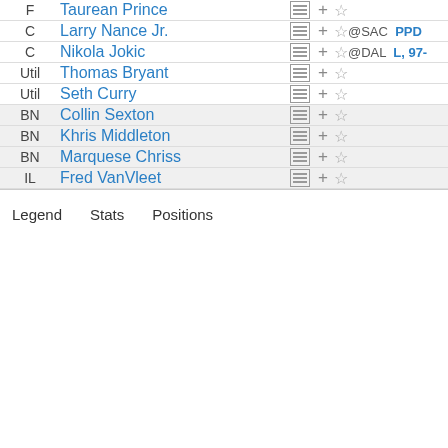| Pos | Player | Icons | Game |
| --- | --- | --- | --- |
| F | Taurean Prince | ☰ + ☆ |  |
| C | Larry Nance Jr. | ☰ + ☆ | @SAC PPD |
| C | Nikola Jokic | ☰ + ☆ | @DAL L, 97- |
| Util | Thomas Bryant | ☰ + ☆ |  |
| Util | Seth Curry | ☰ + ☆ |  |
| BN | Collin Sexton | ☰ + ☆ |  |
| BN | Khris Middleton | ☰ + ☆ |  |
| BN | Marquese Chriss | ☰ + ☆ |  |
| IL | Fred VanVleet | ☰ + ☆ |  |
Legend   Stats   Positions